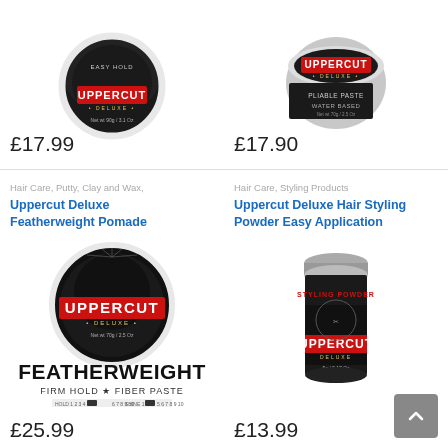[Figure (photo): Uppercut Deluxe pomade tin product image, top-left, Easy Hold variety]
£17.99
[Figure (photo): Uppercut Deluxe Pliable Paste Water Based product tin image, top-right]
£17.90
Hair Care, Putty, Clay and Wax,
Uppercut Deluxe Featherweight Pomade
[Figure (photo): Uppercut Deluxe Featherweight Pomade round tin with text FEATHERWEIGHT FIRM HOLD FIBER PASTE]
£25.99
Hair Care, Styling Products
Uppercut Deluxe Hair Styling Powder Easy Application
[Figure (photo): Uppercut Deluxe Hair Styling Powder cylindrical tin bottle]
£13.99